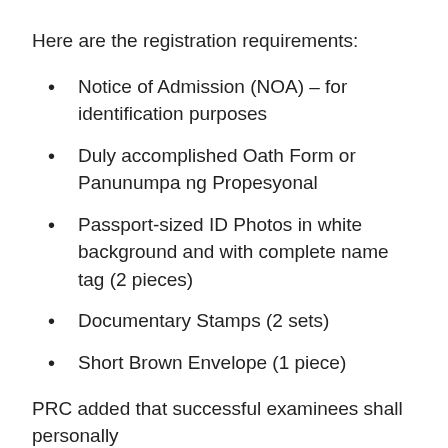Here are the registration requirements:
Notice of Admission (NOA) – for identification purposes
Duly accomplished Oath Form or Panunumpa ng Propesyonal
Passport-sized ID Photos in white background and with complete name tag (2 pieces)
Documentary Stamps (2 sets)
Short Brown Envelope (1 piece)
PRC added that successful examinees shall personally